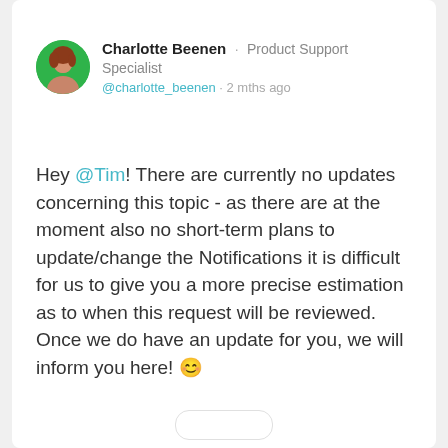[Figure (photo): Circular avatar photo of Charlotte Beenen with green background]
Charlotte Beenen · Product Support Specialist
@charlotte_beenen · 2 mths ago
Hey @Tim ! There are currently no updates concerning this topic - as there are at the moment also no short-term plans to update/change the Notifications it is difficult for us to give you a more precise estimation as to when this request will be reviewed. Once we do have an update for you, we will inform you here! 😊